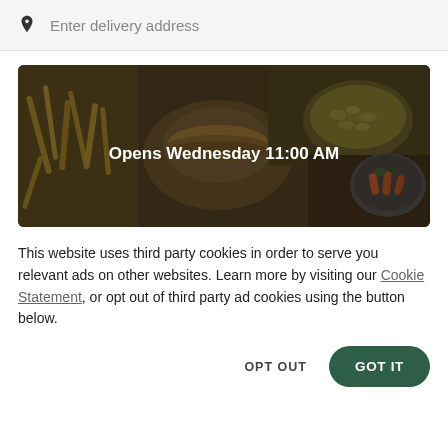Enter delivery address
[Figure (photo): Overhead photo of food dishes including fries, a burger, pasta/mac and cheese, and a bowl of vegetables/carrots, with a dark overlay and white text reading 'Opens Wednesday 11:00 AM']
This website uses third party cookies in order to serve you relevant ads on other websites. Learn more by visiting our Cookie Statement, or opt out of third party ad cookies using the button below.
OPT OUT
GOT IT